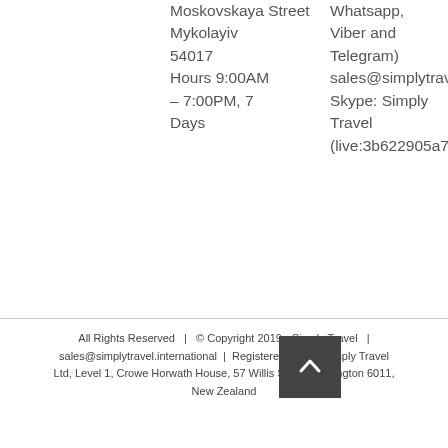Moskovskaya Street Mykolayiv 54017

Hours 9:00AM – 7:00PM, 7 Days
Whatsapp, Viber and Telegram)
sales@simplytravel...
Skype: Simply Travel
(live:3b622905a7a6...
All Rights Reserved   |  © Copyright 2019 - Simply Travel   |  sales@simplytravel.international  |  Registered Office: Simply Travel Ltd, Level 1, Crowe Horwath House, 57 Willis Street, Wellington 6011, New Zealand